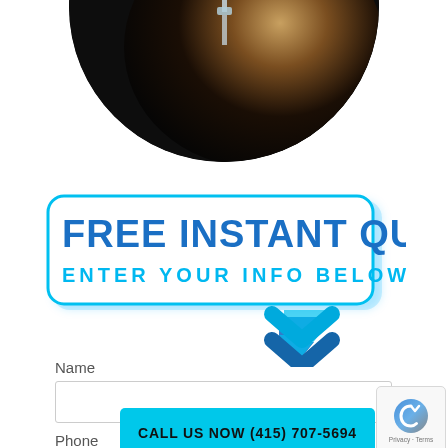[Figure (photo): Circular cropped photo of an IV drip bag with clear tubing against a dark background with warm amber/brown lighting in the lower portion]
[Figure (infographic): Blue-bordered white banner with text FREE INSTANT QUOTE / ENTER YOUR INFO BELOW and a blue double chevron arrow pointing downward at the bottom right]
Name
[Figure (infographic): Cyan/turquoise button reading CALL US NOW (415) 707-5694]
Phone
[Figure (logo): Google reCAPTCHA badge showing the reCAPTCHA logo with Privacy and Terms text]